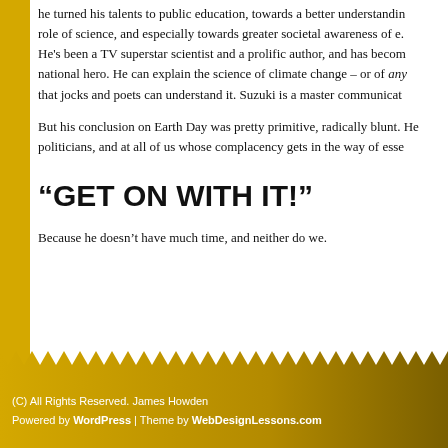he turned his talents to public education, towards a better understanding of the role of science, and especially towards greater societal awareness of e... He's been a TV superstar scientist and a prolific author, and has become a national hero. He can explain the science of climate change – or of any topic – so that jocks and poets can understand it. Suzuki is a master communicat...
But his conclusion on Earth Day was pretty primitive, radically blunt. He aimed at politicians, and at all of us whose complacency gets in the way of esse...
“GET ON WITH IT!”
Because he doesn’t have much time, and neither do we.
(C) All Rights Reserved. James Howden
Powered by WordPress | Theme by WebDesignLessons.com